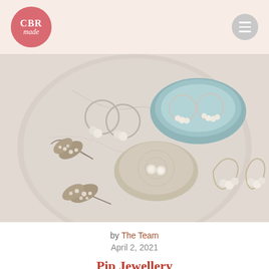CBR made
[Figure (photo): Flatlay photo of pearl jewellery including hoop earrings and stud earrings arranged on a round marble tray with ceramic dishes and spotted feathers.]
by The Team
April 2, 2021
Pip Jewellery